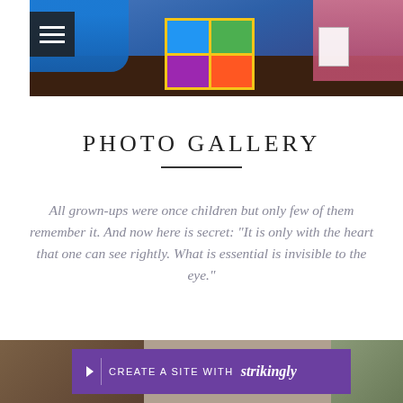[Figure (photo): Photo of children playing with a colorful board game, person in blue shirt on left, person in pink on right, with a hamburger menu icon overlay in top left]
PHOTO GALLERY
All grown-ups were once children but only few of them remember it. And now here is secret: "It is only with the heart that one can see rightly. What is essential is invisible to the eye."
[Figure (photo): Bottom partial photo strip showing children]
CREATE A SITE WITH strikingly